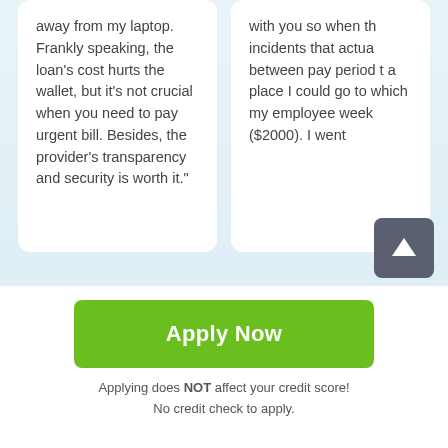away from my laptop. Frankly speaking, the loan's cost hurts the wallet, but it's not crucial when you need to pay urgent bill. Besides, the provider's transparency and security is worth it."
with you so when the incidents that actually between pay periods a place I could go to which my employees week ($2000). I went
Why choose us?
Same Day Process
Online process
Accept & get funds
Apply Now
Applying does NOT affect your credit score!
No credit check to apply.